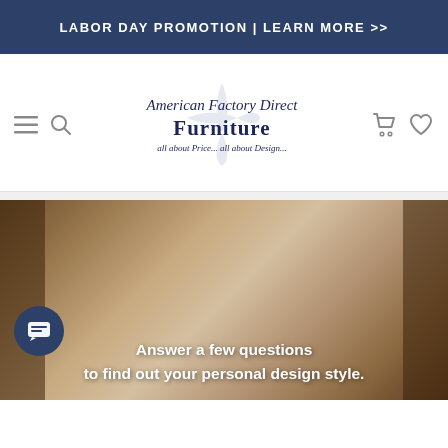LABOR DAY PROMOTION | LEARN MORE >>
[Figure (logo): American Factory Direct Furniture logo with script and serif text, tagline 'all about Price... all about Design...']
[Figure (photo): Furniture lifestyle hero image with overlaid text: 'Answer a few questions to find out your personal design style.']